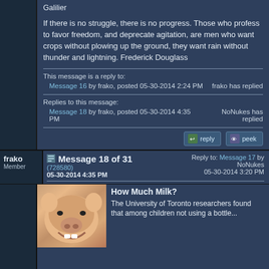Galilier

If there is no struggle, there is no progress. Those who profess to favor freedom, and deprecate agitation, are men who want crops without plowing up the ground, they want rain without thunder and lightning. Frederick Douglass
This message is a reply to:
Message 16 by frako, posted 05-30-2014 2:24 PM
frako has replied
Replies to this message:
Message 18 by frako, posted 05-30-2014 4:35 PM
NoNukes has replied
frako
Member
Message 18 of 31
(728580)
05-30-2014 4:35 PM
Reply to: Message 17 by NoNukes
05-30-2014 3:20 PM
How Much Milk?
The University of Toronto researchers found that among children not using a bottle...